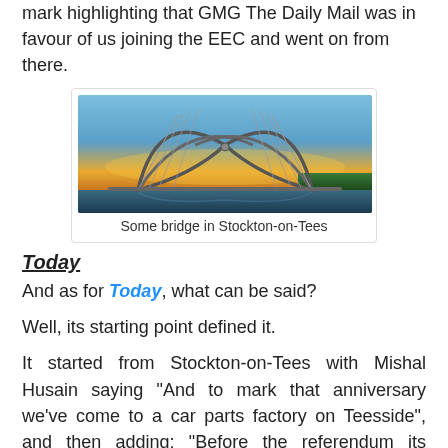mark highlighting that GMG The Daily Mail was in favour of us joining the EEC and went on from there.
[Figure (photo): Photo of a modern cable-stayed bridge with an infinity/arch design at sunset in Stockton-on-Tees, with orange and blue sky background]
Some bridge in Stockton-on-Tees
Today
And as for Today, what can be said?
Well, its starting point defined it.
It started from Stockton-on-Tees with Mishal Husain saying "And to mark that anniversary we've come to a car parts factory on Teesside", and then adding: "Before the referendum its managing director warned that leaving the EU